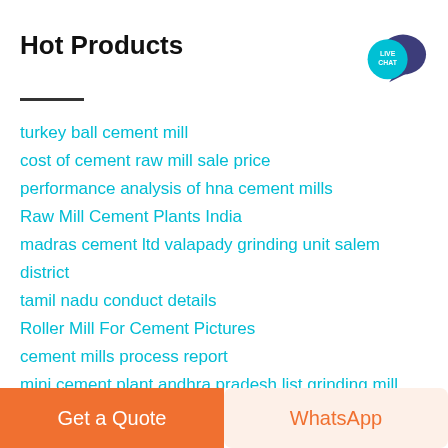Hot Products
turkey ball cement mill
cost of cement raw mill sale price
performance analysis of hna cement mills
Raw Mill Cement Plants India
madras cement ltd valapady grinding unit salem district tamil nadu conduct details
Roller Mill For Cement Pictures
cement mills process report
mini cement plant andhra pradesh list grinding mill china
buy used cement ball mill in india
close circuit mill in cement technology in india
Get a Quote   WhatsApp